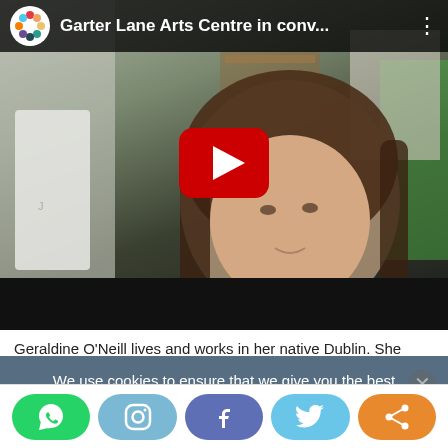[Figure (screenshot): YouTube embedded video player showing 'Garter Lane Arts Centre in conv...' with a young woman with long brown hair visible in the thumbnail. A red YouTube play button is centered on the video. The top bar shows the YouTube logo (colorful eggs circle) and channel name. Bottom bar is black.]
Geraldine O'Neill lives and works in her native Dublin. She
We use cookies to ensure that we give you the best experience on our website. If you continue to use this site we will assume that you are happy with it.
O'Neill has lectured in the Fine Art Department of the
[Figure (screenshot): Social sharing bar at the bottom with five rounded buttons: WhatsApp (green), Instagram (light blue), Facebook (purple-blue), Twitter (light blue), and Share (orange).]